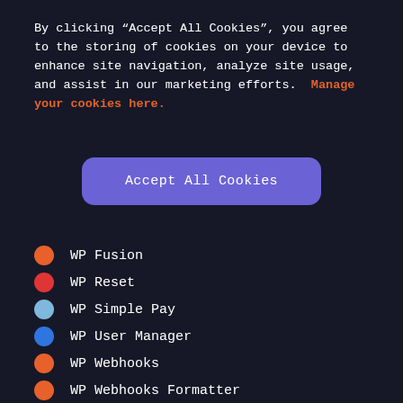By clicking "Accept All Cookies", you agree to the storing of cookies on your device to enhance site navigation, analyze site usage, and assist in our marketing efforts. Manage your cookies here.
[Figure (other): A purple rounded button labeled 'Accept All Cookies']
WP Fusion
WP Reset
WP Simple Pay
WP User Manager
WP Webhooks
WP Webhooks Formatter
WP-Polls
wpDiscuz
WPForms